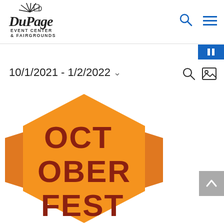DuPage Event Center & Fairgrounds — navigation header with logo, search icon, and menu icon
10/1/2021 - 1/2/2022
[Figure (logo): Octoberfest logo: orange hexagon badge with dark red distressed text reading OCT / OBER / FEST, with orange side banner wings]